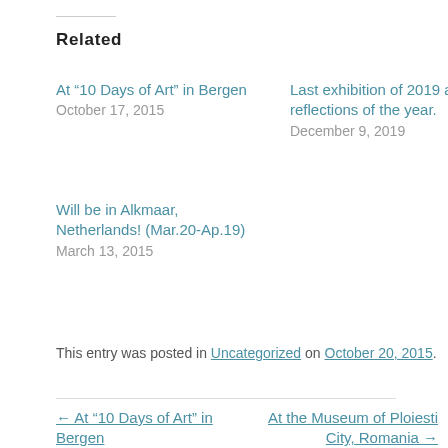Related
At “10 Days of Art” in Bergen
October 17, 2015
Last exhibition of 2019 and reflections of the year.
December 9, 2019
Will be in Alkmaar, Netherlands! (Mar.20-Ap.19)
March 13, 2015
This entry was posted in Uncategorized on October 20, 2015.
← At “10 Days of Art” in Bergen    At the Museum of Ploiesti City, Romania →